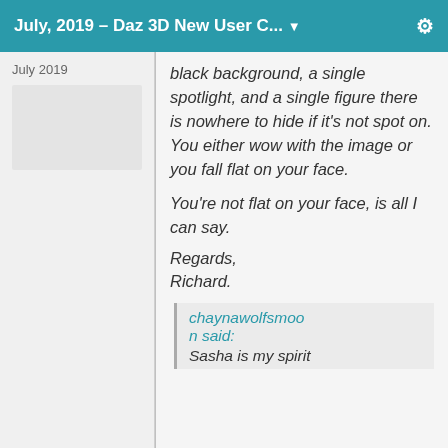July, 2019 – Daz 3D New User C... ▼
July 2019
black background, a single spotlight, and a single figure there is nowhere to hide if it's not spot on. You either wow with the image or you fall flat on your face.

You're not flat on your face, is all I can say.

Regards,

Richard.
chaynawolfsmoon said: Sasha is my spirit